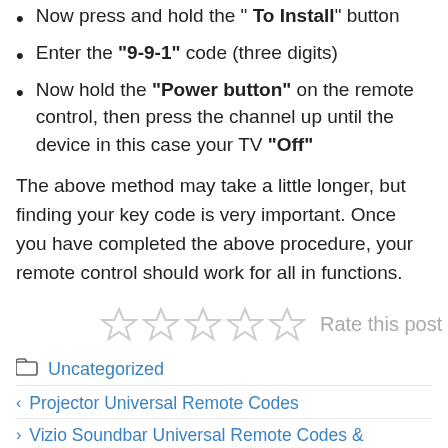Now press and hold the "To Install" button
Enter the "9-9-1" code (three digits)
Now hold the "Power button" on the remote control, then press the channel up until the device in this case your TV "Off"
The above method may take a little longer, but finding your key code is very important. Once you have completed the above procedure, your remote control should work for all in functions.
[Figure (other): Five empty star rating icons followed by 'Rate this post' text]
Uncategorized
Projector Universal Remote Codes
Vizio Soundbar Universal Remote Codes &